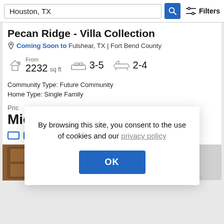Houston, TX | Filters
Pecan Ridge - Villa Collection
Coming Soon to Fulshear, TX | Fort Bend County
From 2232 sq ft   3-5   2-4
Community Type: Future Community
Home Type: Single Family
Pric
Mic
By browsing this site, you consent to the use of cookies and our privacy policy
[Figure (photo): Wood kitchen cabinets and interior home photo strip at bottom of page]